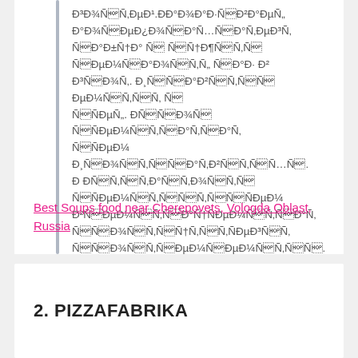Ð³Ð¾ÑÑÐµÐ¹.ÐÐ°Ð¾Ð°Ð·ÑÐ²Ð°ÐµÑ Ð°Ð¾ÑÐµÐ¿Ð¾ÑÐ°ÑÑÐ°ÑÐµÐ³Ñ ÑÐ¾Ð¶ÑÑÑÑ ÑÑÐµÑ. ÐÑÐ¾ÑÑ ÑÐµÑÑÐ¾ÑÑÐ°ÑÑÐ°Ñ ÐÑÐ¸Ð¶ÑÑÑÐ°ÑÑÑ. ÐÑÑÑÑÐ²ÑÑÑÑÑÑÑÑ
Best Soups food near Cherepovets, Vologda Oblast, Russia
2. PIZZAFABRIKA